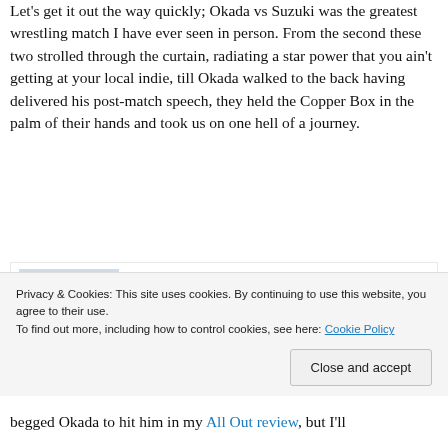Let's get it out the way quickly; Okada vs Suzuki was the greatest wrestling match I have ever seen in person. From the second these two strolled through the curtain, radiating a star power that you ain't getting at your local indie, till Okada walked to the back having delivered his post-match speech, they held the Copper Box in the palm of their hands and took us on one hell of a journey.
[Figure (other): Advertisement banner for Day One Journal app featuring a person taking a photo on a hillside, 'Over 150,000 5-star reviews' text, and Day One Journal logo]
Of course, Okada was a huge part of that, but this
Privacy & Cookies: This site uses cookies. By continuing to use this website, you agree to their use.
To find out more, including how to control cookies, see here: Cookie Policy
begged Okada to hit him in my All Out review, but I'll